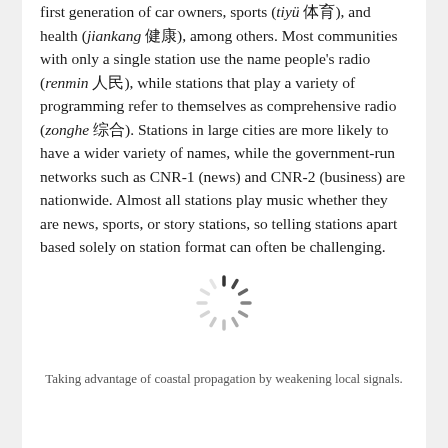first generation of car owners, sports (tiyü 体育), and health (jiankang 健康), among others. Most communities with only a single station use the name people's radio (renmin 人民), while stations that play a variety of programming refer to themselves as comprehensive radio (zonghe 综合). Stations in large cities are more likely to have a wider variety of names, while the government-run networks such as CNR-1 (news) and CNR-2 (business) are nationwide. Almost all stations play music whether they are news, sports, or story stations, so telling stations apart based solely on station format can often be challenging.
[Figure (other): A loading spinner icon (radial lines forming a circular spinner), rendered in dark gray.]
Taking advantage of coastal propagation by weakening local signals.